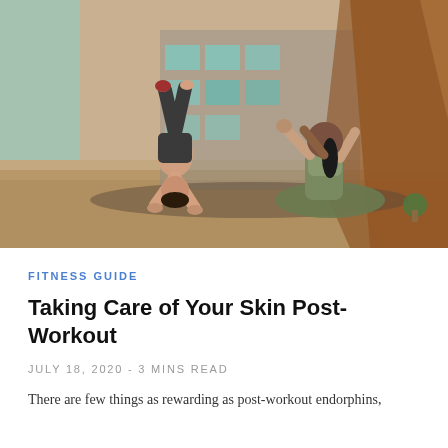[Figure (photo): Two women exercising in a gym studio. One woman is doing a handstand/push-up position and another is sitting on the floor stretching in a yoga pose. Studio has wooden shelving with equipment in the background.]
FITNESS GUIDE
Taking Care of Your Skin Post-Workout
JULY 18, 2020  -  3 MINS READ
There are few things as rewarding as post-workout endorphins,